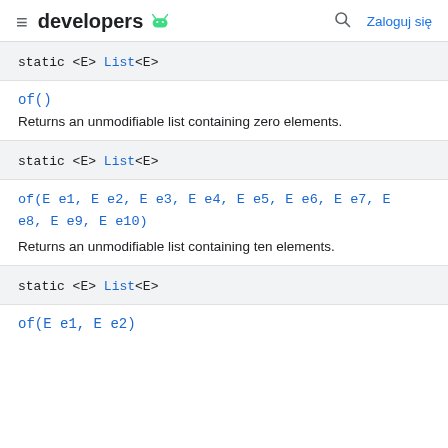developers [android logo] | [search] Zaloguj się
static <E> List<E>
of()
Returns an unmodifiable list containing zero elements.
static <E> List<E>
of(E e1, E e2, E e3, E e4, E e5, E e6, E e7, E e8, E e9, E e10)
Returns an unmodifiable list containing ten elements.
static <E> List<E>
of(E e1, E e2)